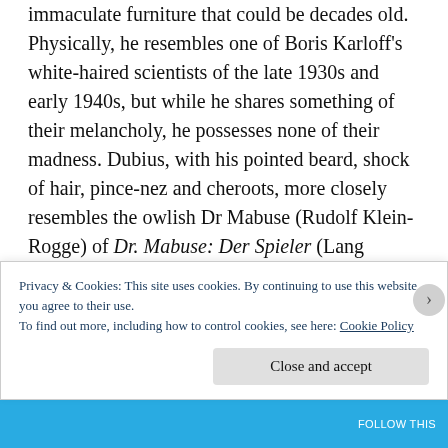immaculate furniture that could be decades old. Physically, he resembles one of Boris Karloff's white-haired scientists of the late 1930s and early 1940s, but while he shares something of their melancholy, he possesses none of their madness. Dubius, with his pointed beard, shock of hair, pince-nez and cheroots, more closely resembles the owlish Dr Mabuse (Rudolf Klein-Rogge) of Dr. Mabuse: Der Spieler (Lang Germany 1922). Indeed, in his rather cluttered office, strewn with books and papers, he even sits beneath a giant stuffed owl, symbolising a knowledge more arcane than modern science. He lives alone with his housekeeper; his clothes
Privacy & Cookies: This site uses cookies. By continuing to use this website, you agree to their use.
To find out more, including how to control cookies, see here: Cookie Policy